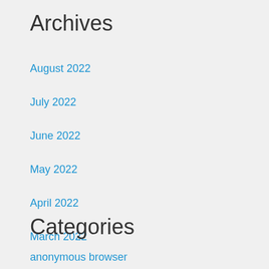Archives
August 2022
July 2022
June 2022
May 2022
April 2022
March 2022
February 2022
January 2022
Categories
anonymous browser